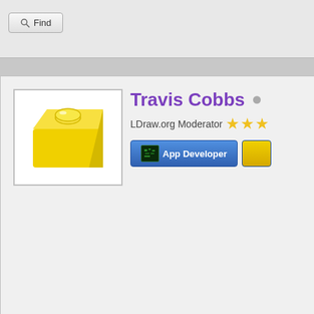[Figure (screenshot): Top toolbar area with a Find button on a light gray background]
[Figure (screenshot): User profile card for Travis Cobbs showing avatar (yellow LEGO brick), username in purple, LDraw.org Moderator title with stars, and App Developer badge]
Re: Leading or trailing white space characters
2011-12-20, 21:08
Many file types have a "magic number" without having to rely on the file's exten- 7 or 9a, depending on the GIF version). beginning of LDraw files could be usefu- is required to be that for parts), disallow- a very unique one). It's not perfect, but i
[Figure (screenshot): Post footer with Website and Find buttons]